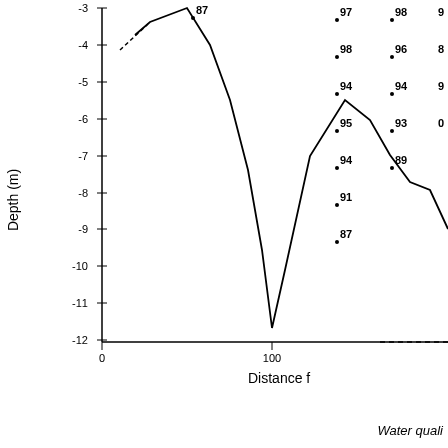[Figure (continuous-plot): Cross-section profile plot showing Depth (m) on the y-axis (ranging from -3 to -12) versus Distance from shore (partially visible, x-axis starting at 0 with tick at 100). A bathymetric profile line shows a peak near x=50 at depth -3, descending to a minimum around -11.5 near x=100, then rising sharply to about -7 before dipping again at the right edge. Scatter data points are labeled with two-digit numbers (97, 98, 98, 96, 94, 94, 95, 93, 94, 89, 91, 87) distributed across the plot area.]
Distance f
Water quali